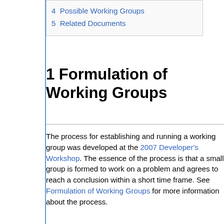4 Possible Working Groups
5 Related Documents
1 Formulation of Working Groups
The process for establishing and running a working group was developed at the 2007 Developer's Workshop. The essence of the process is that a small group is formed to work on a problem and agrees to reach a conclusion within a short time frame. See Formulation of Working Groups for more information about the process.